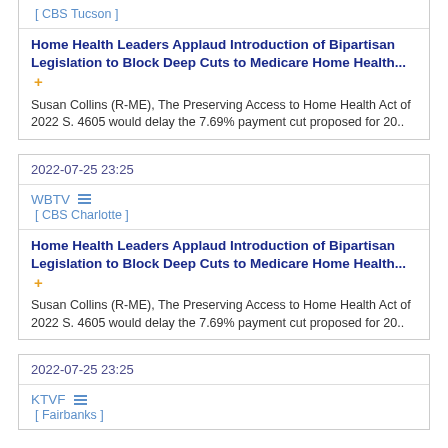[ CBS Tucson ]
Home Health Leaders Applaud Introduction of Bipartisan Legislation to Block Deep Cuts to Medicare Home Health... +
Susan Collins (R-ME), The Preserving Access to Home Health Act of 2022 S. 4605 would delay the 7.69% payment cut proposed for 20..
2022-07-25 23:25
WBTV [ CBS Charlotte ]
Home Health Leaders Applaud Introduction of Bipartisan Legislation to Block Deep Cuts to Medicare Home Health... +
Susan Collins (R-ME), The Preserving Access to Home Health Act of 2022 S. 4605 would delay the 7.69% payment cut proposed for 20..
2022-07-25 23:25
KTVF [ Fairbanks ]